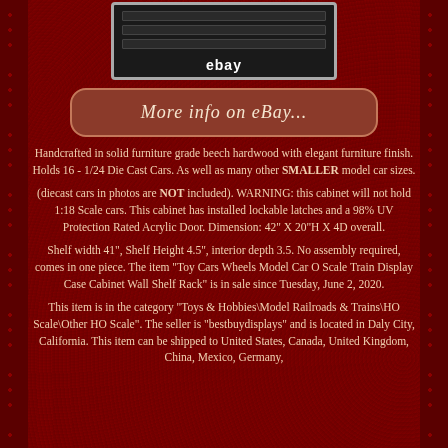[Figure (photo): Product image of a display cabinet with shelf lines and eBay logo/watermark]
[Figure (other): More info on eBay... button/link]
Handcrafted in solid furniture grade beech hardwood with elegant furniture finish. Holds 16 - 1/24 Die Cast Cars. As well as many other SMALLER model car sizes.
(diecast cars in photos are NOT included). WARNING: this cabinet will not hold 1:18 Scale cars. This cabinet has installed lockable latches and a 98% UV Protection Rated Acrylic Door. Dimension: 42" X 20"H X 4D overall.
Shelf width 41", Shelf Height 4.5", interior depth 3.5. No assembly required, comes in one piece. The item "Toy Cars Wheels Model Car O Scale Train Display Case Cabinet Wall Shelf Rack" is in sale since Tuesday, June 2, 2020.
This item is in the category "Toys & Hobbies\Model Railroads & Trains\HO Scale\Other HO Scale". The seller is "bestbuydisplays" and is located in Daly City, California. This item can be shipped to United States, Canada, United Kingdom, China, Mexico, Germany,